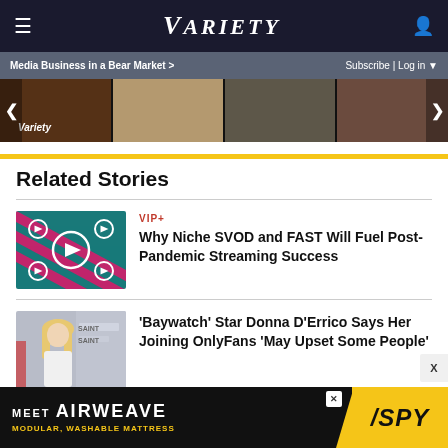VARIETY
Media Business in a Bear Market > Subscribe | Log in
[Figure (photo): Horizontal scrollable image strip showing four thumbnail images from Variety articles, with left and right navigation arrows]
Related Stories
VIP+
Why Niche SVOD and FAST Will Fuel Post-Pandemic Streaming Success
[Figure (illustration): Teal background with pink diagonal stripes and white play/navigation icons arranged in a grid pattern]
'Baywatch' Star Donna D'Errico Says Her Joining OnlyFans 'May Upset Some People'
[Figure (photo): Blonde woman in white outfit at a SAINT event]
[Figure (other): MEET AIRWEAVE advertisement - MODULAR, WASHABLE MATTRESS - with SPY logo]